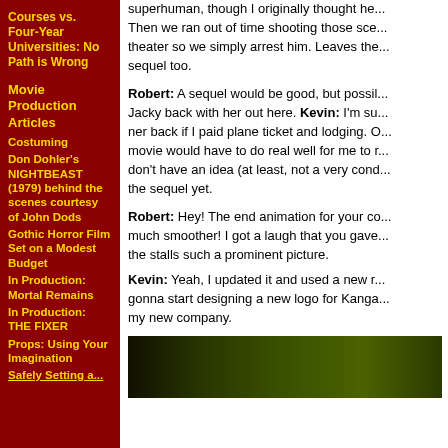Courses vs. Four-Year Universities: No Path is Wrong
Movie Production Articles
Costuming
Don Dohler's NIGHTBEAST (1979) behind the scenes courtesy of John Dods
Gothic Horror Film Set on a Modest Budget
In Production: Mortal Remains
In Production: THE FIXER
Props: Using Your Imagination
Safely Setting a...
superhuman, though I originally thought he... Then we ran out of time shooting those sce... theater so we simply arrest him. Leaves the... sequel too.
Robert: A sequel would be good, but possil... Jacky back with her out here. Kevin: I'm su... ner back if I paid plane ticket and lodging. O... movie would have to do real well for me to r... don't have an idea (at least, not a very cond... the sequel yet.
Robert: Hey! The end animation for your co... much smoother! I got a laugh that you gave... the stalls such a prominent picture.
Kevin: Yeah, I updated it and used a new r... gonna start designing a new logo for Kanga... my new company.
[Figure (photo): Dark green background photo, appears to be a close-up nature or character image]